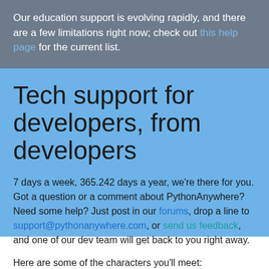Our education support is evolving rapidly, and there are a few limitations right now; check out this help page for the current list.
Tech support for developers, from developers
7 days a week, 365.242 days a year, we're there for you. Got a question or a comment about PythonAnywhere? Need some help? Just post in our forums, drop a line to support@pythonanywhere.com, or send us feedback, and one of our dev team will get back to you right away.
Here are some of the characters you'll meet: